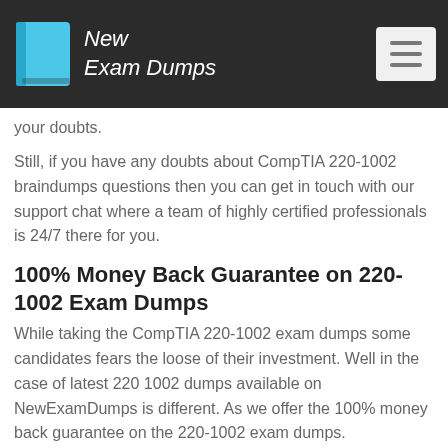New Exam Dumps
your doubts.
Still, if you have any doubts about CompTIA 220-1002 braindumps questions then you can get in touch with our support chat where a team of highly certified professionals is 24/7 there for you.
100% Money Back Guarantee on 220-1002 Exam Dumps
While taking the CompTIA 220-1002 exam dumps some candidates fears the loose of their investment. Well in the case of latest 220 1002 dumps available on NewExamDumps is different. As we offer the 100% money back guarantee on the 220-1002 exam dumps.
Your money will be safe hands and you don't have fear losing it. Also, we offer the secure payment method for CompTIA 220-1002 pdf dumps questions